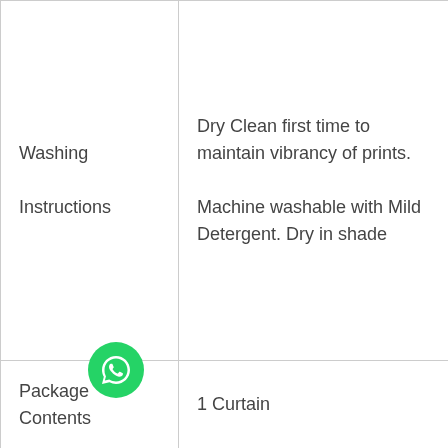|  |  |
| --- | --- |
| Washing Instructions | Dry Clean first time to maintain vibrancy of prints.

Machine washable with Mild Detergent. Dry in shade |
| Package Contents | 1 Curtain |
[Figure (logo): WhatsApp circular green button icon]